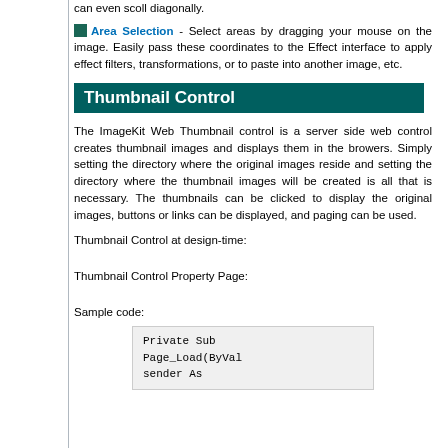can even scoll diagonally.
Area Selection - Select areas by dragging your mouse on the image. Easily pass these coordinates to the Effect interface to apply effect filters, transformations, or to paste into another image, etc.
Thumbnail Control
The ImageKit Web Thumbnail control is a server side web control creates thumbnail images and displays them in the browers. Simply setting the directory where the original images reside and setting the directory where the thumbnail images will be created is all that is necessary. The thumbnails can be clicked to display the original images, buttons or links can be displayed, and paging can be used.
Thumbnail Control at design-time:
Thumbnail Control Property Page:
Sample code:
Private Sub
Page_Load(ByVal
sender As